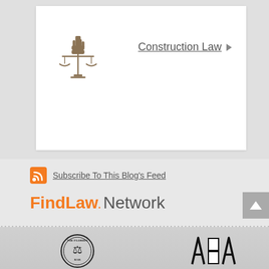[Figure (illustration): Scales of justice with fist icon in golden/brown color inside a white card on gray background]
Construction Law ▶
Subscribe To This Blog's Feed
FindLaw. Network
[Figure (logo): Florida Bar circular seal/logo in black and white]
[Figure (logo): ABA (American Bar Association) logo in black]